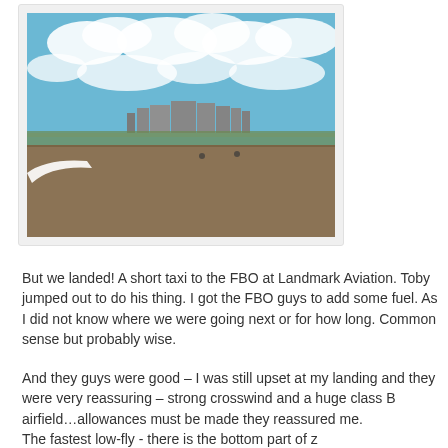[Figure (photo): Aerial/ground-level view from aircraft showing airport runway and terminal buildings in the distance under a partly cloudy blue sky]
But we landed! A short taxi to the FBO at Landmark Aviation. Toby jumped out to do his thing. I got the FBO guys to add some fuel. As I did not know where we were going next or for how long. Common sense but probably wise.
And they guys were good – I was still upset at my landing and they were very reassuring – strong crosswind and a huge class B airfield…allowances must be made they reassured me.
The fastest low-fly - there is the bottom part of z